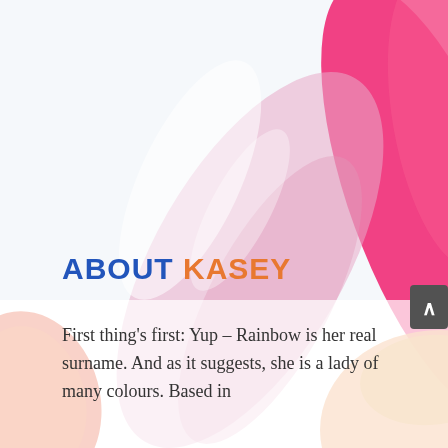[Figure (illustration): Colorful watercolor flower petals illustration as background. Large soft pink/lavender petal in center-left, orange-red petal at bottom-left, bright magenta/pink petal at upper-right, yellow-green shape at right, and light blue-white background area. A dark gray rounded rectangle scroll-up button with white caret appears at far right.]
ABOUT KASEY
First thing’s first: Yup – Rainbow is her real surname. And as it suggests, she is a lady of many colours. Based in